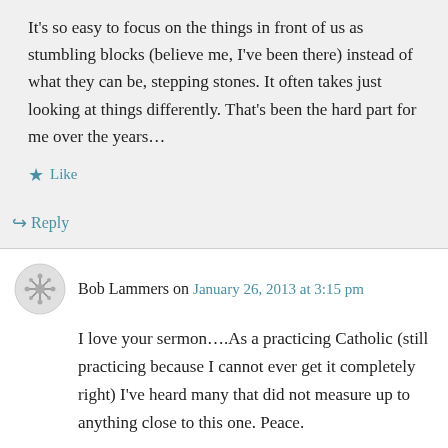It's so easy to focus on the things in front of us as stumbling blocks (believe me, I've been there) instead of what they can be, stepping stones. It often takes just looking at things differently. That's been the hard part for me over the years…
★ Like
↳ Reply
Bob Lammers on January 26, 2013 at 3:15 pm
I love your sermon….As a practicing Catholic (still practicing because I cannot ever get it completely right) I've heard many that did not measure up to anything close to this one. Peace.